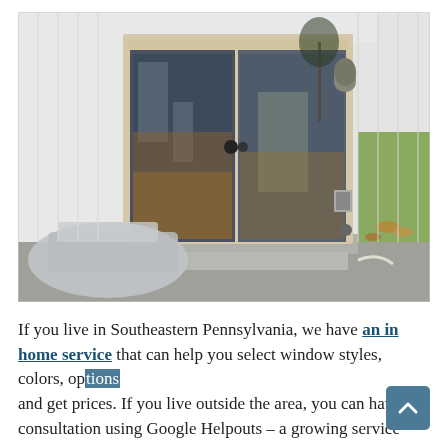[Figure (photo): Exterior photo of a white house wall with a sliding glass door with beige/cream frame, concrete steps in front, a wall-mounted light fixture to the right, and autumn foliage visible outside. Some covered furniture or equipment is visible at lower left.]
If you live in Southeastern Pennsylvania, we have an in home service that can help you select window styles, colors, options and get prices. If you live outside the area, you can have a consultation using Google Helpouts – a growing service